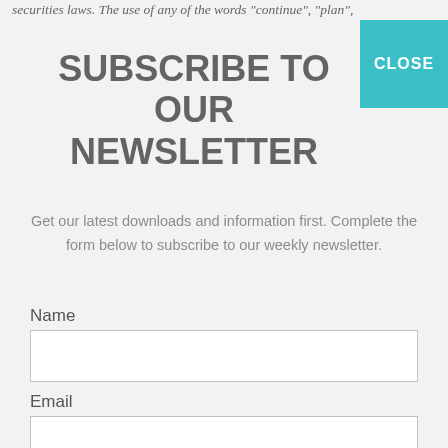securities laws. The use of any of the words "continue", "plan",
SUBSCRIBE TO OUR NEWSLETTER
Get our latest downloads and information first. Complete the form below to subscribe to our weekly newsletter.
Name
Email
I consent to being contacted via telephone and/or email and I consent to